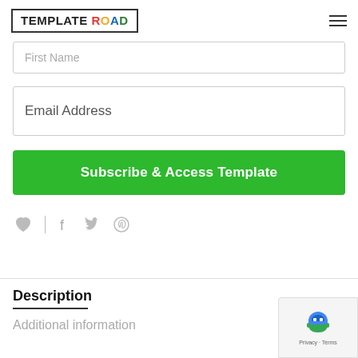TEMPLATE ROAD
First Name
Email Address
Subscribe & Access Template
[Figure (infographic): Social sharing icons row: heart/like icon, vertical divider, Facebook icon, Twitter icon, Pinterest icon — all in gray]
Description
Additional information
[Figure (other): reCAPTCHA badge with robot icon and Privacy · Terms links]